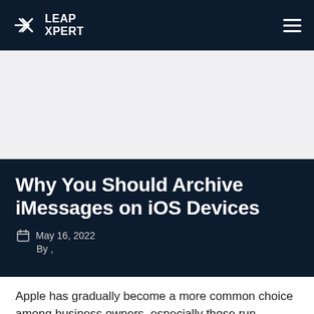LEAP XPERT
Why You Should Archive iMessages on iOS Devices
May 16, 2022
By ,
Apple has gradually become a more common choice among business owners, especially those run